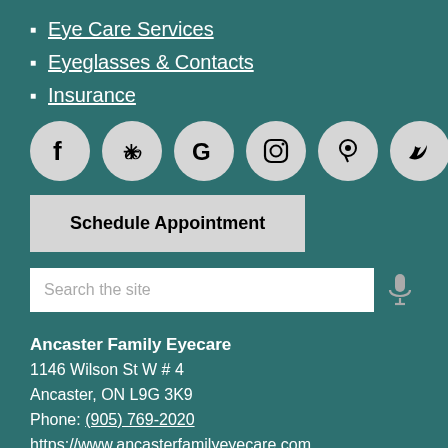Eye Care Services
Eyeglasses & Contacts
Insurance
[Figure (infographic): Six social media icon circles: Facebook, Yelp, Google, Instagram, Pinterest, Twitter]
Schedule Appointment
Search the site
Ancaster Family Eyecare
1146 Wilson St W # 4
Ancaster, ON L9G 3K9
Phone: (905) 769-2020
https://www.ancasterfamilyeyecare.com